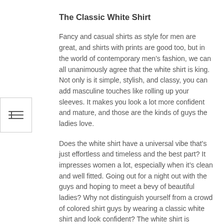The Classic White Shirt
Fancy and casual shirts as style for men are great, and shirts with prints are good too, but in the world of contemporary men’s fashion, we can all unanimously agree that the white shirt is king. Not only is it simple, stylish, and classy, you can add masculine touches like rolling up your sleeves. It makes you look a lot more confident and mature, and those are the kinds of guys the ladies love.
Does the white shirt have a universal vibe that’s just effortless and timeless and the best part? It impresses women a lot, especially when it’s clean and well fitted. Going out for a night out with the guys and hoping to meet a bevy of beautiful ladies? Why not distinguish yourself from a crowd of colored shirt guys by wearing a classic white shirt and look confident? The white shirt is gloriously male, and it will bring you good attention. For other casual places, a